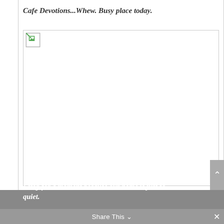Cafe Devotions...Whew.  Busy place today.
[Figure (photo): Broken/missing image placeholder with small broken image icon in top-left corner, large white area below]
Three children in the car,  a husband at the wheel, coats piled high, and a trail of mittens and hats gather as dear friends on a wintery day.  Mommy is still in the house.
I stop for a moment because our home is just so... quiet.
Share This  ×